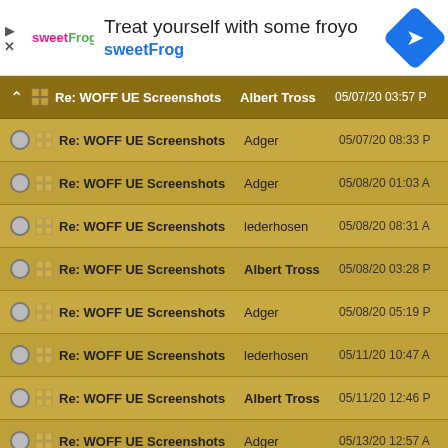[Figure (screenshot): sweetFrog frozen yogurt advertisement banner with logo, headline 'Treat yourself with some froyo', brand name 'sweetFrog', and navigation arrow icon]
Re: WOFF UE Screenshots | Albert Tross | 05/07/20 03:57 PM
Re: WOFF UE Screenshots | Adger | 05/07/20 08:33 PM
Re: WOFF UE Screenshots | Adger | 05/08/20 01:03 AM
Re: WOFF UE Screenshots | lederhosen | 05/08/20 08:31 AM
Re: WOFF UE Screenshots | Albert Tross | 05/08/20 03:28 PM
Re: WOFF UE Screenshots | Adger | 05/08/20 05:19 PM
Re: WOFF UE Screenshots | lederhosen | 05/11/20 10:47 AM
Re: WOFF UE Screenshots | Albert Tross | 05/11/20 12:46 PM
Re: WOFF UE Screenshots | Adger | 05/13/20 12:57 AM
[Figure (screenshot): sweetFrog Leesburg location advertisement: OPEN 10AM-9PM, 241 Fort Evans Rd NE, Leesburg, with infinity logo and navigation arrow]